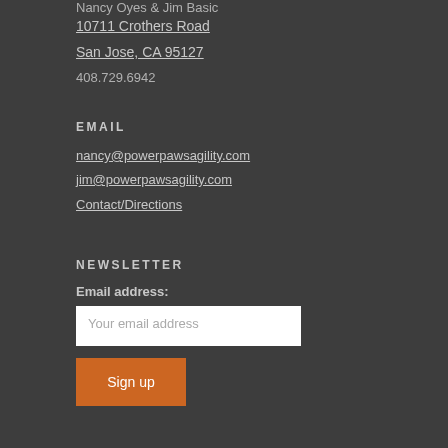Nancy Oyes & Jim Basic
10711 Crothers Road
San Jose, CA 95127
408.729.6942
EMAIL
nancy@powerpawsagility.com
jim@powerpawsagility.com
Contact/Directions
NEWSLETTER
Email address:
Your email address
Sign up